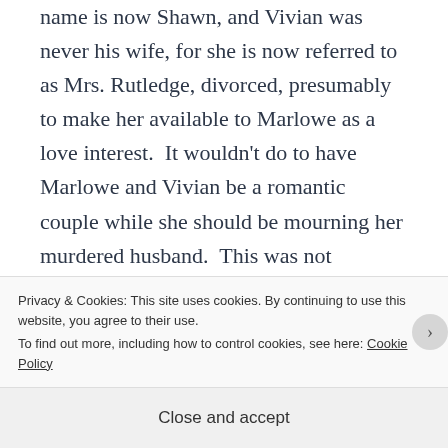name is now Shawn, and Vivian was never his wife, for she is now referred to as Mrs. Rutledge, divorced, presumably to make her available to Marlowe as a love interest.  It wouldn't do to have Marlowe and Vivian be a romantic couple while she should be mourning her murdered husband.  This was not important in the novel, where Marlowe has no interest in her romantically.  In
Privacy & Cookies: This site uses cookies. By continuing to use this website, you agree to their use.
To find out more, including how to control cookies, see here: Cookie Policy
Close and accept